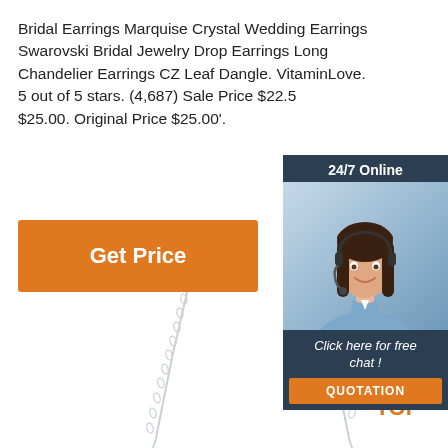Bridal Earrings Marquise Crystal Wedding Earrings Swarovski Bridal Jewelry Drop Earrings Long Chandelier Earrings CZ Leaf Dangle. VitaminLove. 5 out of 5 stars. (4,687) Sale Price $22.5 $25.00. Original Price $25.00'.
[Figure (photo): Orange 'Get Price' button on white background]
[Figure (photo): Chat widget with '24/7 Online' header, photo of a woman with headset smiling, 'Click here for free chat!' text, and orange 'QUOTATION' button, on dark navy background]
[Figure (illustration): TOp badge with orange dots forming an arc above 'TOP' text in orange]
[Figure (photo): Two silver chain necklaces on white background, extending from upper portion downward]